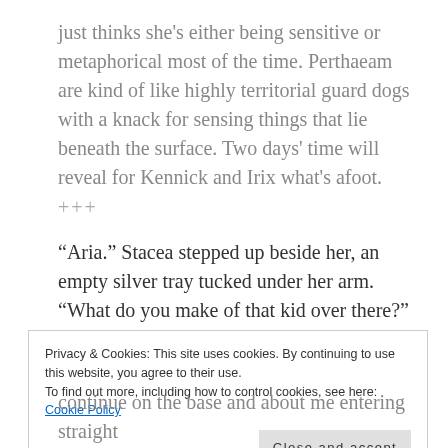just thinks she's either being sensitive or metaphorical most of the time. Perthaeam are kind of like highly territorial guard dogs with a knack for sensing things that lie beneath the surface. Two days' time will reveal for Kennick and Irix what's afoot.
+++
“Aria.” Stacea stepped up beside her, an empty silver tray tucked under her arm. “What do you make of that kid over there?”
Privacy & Cookies: This site uses cookies. By continuing to use this website, you agree to their use.
To find out more, including how to control cookies, see here: Cookie Policy
Close and accept
continue on the base and about me entering straight